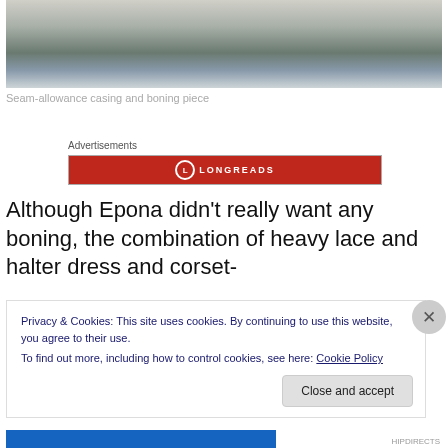[Figure (photo): A photo showing white fabric with seam-allowance casing and boning piece on a surface.]
Seam-allowance casing and boning piece
Advertisements
[Figure (logo): Longreads advertisement banner in red with white Longreads logo and text.]
Although Epona didn't really want any boning, the combination of heavy lace and halter dress and corset-
Privacy & Cookies: This site uses cookies. By continuing to use this website, you agree to their use.
To find out more, including how to control cookies, see here: Cookie Policy
Close and accept